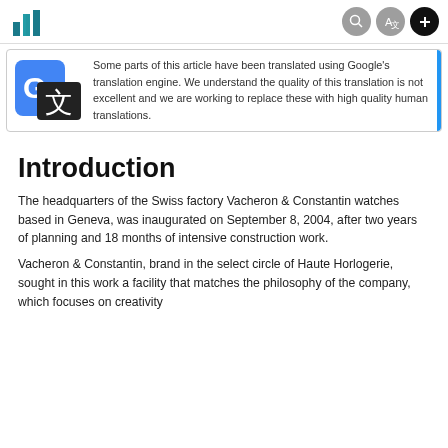Some parts of this article have been translated using Google's translation engine. We understand the quality of this translation is not excellent and we are working to replace these with high quality human translations.
Introduction
The headquarters of the Swiss factory Vacheron & Constantin watches based in Geneva, was inaugurated on September 8, 2004, after two years of planning and 18 months of intensive construction work.
Vacheron & Constantin, brand in the select circle of Haute Horlogerie, sought in this work a facility that matches the philosophy of the company, which focuses on creativity